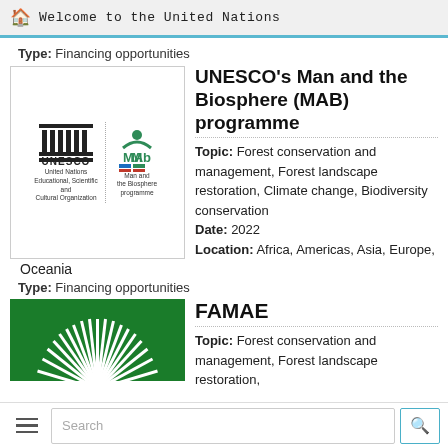Welcome to the United Nations
Type: Financing opportunities
[Figure (logo): UNESCO logo with 'United Nations Educational, Scientific and Cultural Organization' text alongside MAB (Man and the Biosphere programme) logo]
UNESCO's Man and the Biosphere (MAB) programme
Topic: Forest conservation and management, Forest landscape restoration, Climate change, Biodiversity conservation
Date: 2022
Location: Africa, Americas, Asia, Europe, Oceania
Type: Financing opportunities
[Figure (logo): FAMAE logo — green background with white radial lines forming a semicircle]
FAMAE
Topic: Forest conservation and management, Forest landscape restoration...